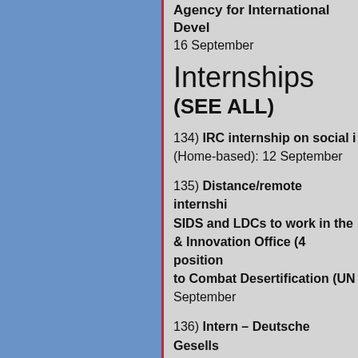Agency for International Development 16 September
Internships (SEE ALL)
134) IRC internship on social i... (Home-based): 12 September
135) Distance/remote internshi... SIDS and LDCs to work in the ... & Innovation Office (4 position... to Combat Desertification (UNC... September
136) Intern – Deutsche Gesells... Zusammenarbeit (GIZ) (India): ...